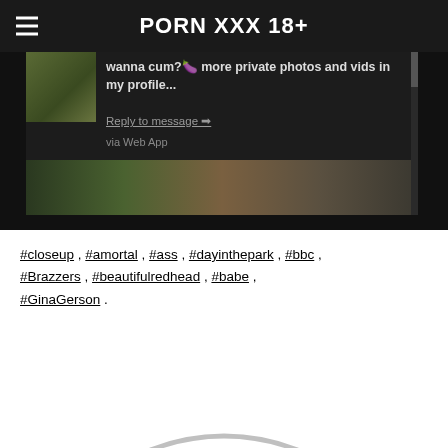PORN XXX 18+
[Figure (screenshot): Mobile app screenshot showing a message: 'wanna cum? more private photos and vids in my profile...' with Reply to message link and 'via Web App' text, plus a thumbnail image and outdoor photo below.]
#closeup , #amortal , #ass , #dayinthepark , #bbc , #Brazzers , #beautifulredhead , #babe , #GinaGerson .
[Figure (other): Large circular arc/profile picture placeholder, grey outline of a circle, bottom half cut off by page edge.]